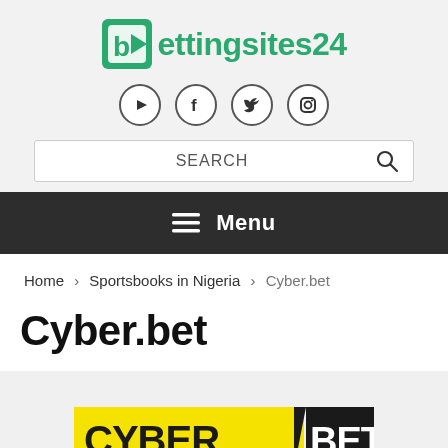[Figure (logo): bettingsites24 logo with green play button icon and green text]
[Figure (illustration): Four social media icons (YouTube, Facebook, Twitter, Instagram) in circular bordered buttons]
[Figure (screenshot): Search bar with SEARCH placeholder text and magnifying glass icon]
Menu
Home > Sportsbooks in Nigeria > Cyber.bet
Cyber.bet
[Figure (logo): Cyber.bet logo with yellow background and black text CYBER BET]